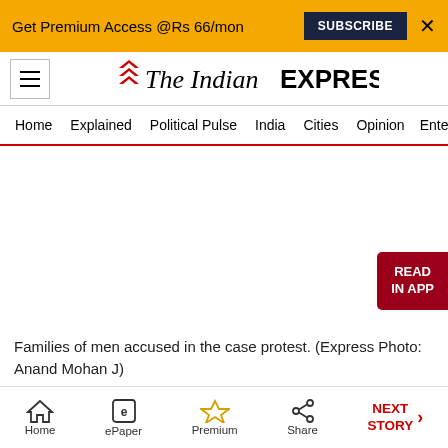Get Premium Access @Rs 66/mon  SUBSCRIBE  ×
[Figure (logo): The Indian Express logo with red chevron icon and wordmark]
Home  Explained  Political Pulse  India  Cities  Opinion  Entertainment
[Figure (photo): Large photo placeholder — Families of men accused in the case protest]
Families of men accused in the case protest. (Express Photo: Anand Mohan J)
Home  ePaper  Premium  Share  NEXT STORY →